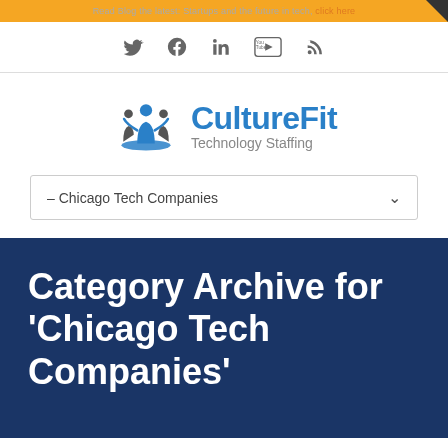CultureFit Technology Staffing – navigation/social bar
[Figure (logo): CultureFit Technology Staffing logo with stylized blue and grey figures and blue text]
– Chicago Tech Companies
Category Archive for 'Chicago Tech Companies'